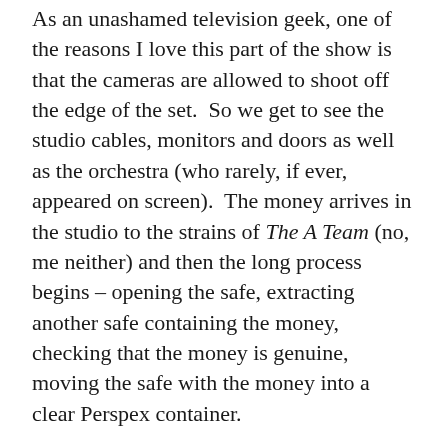As an unashamed television geek, one of the reasons I love this part of the show is that the cameras are allowed to shoot off the edge of the set.  So we get to see the studio cables, monitors and doors as well as the orchestra (who rarely, if ever, appeared on screen).  The money arrives in the studio to the strains of The A Team (no, me neither) and then the long process begins – opening the safe, extracting another safe containing the money, checking that the money is genuine, moving the safe with the money into a clear Perspex container.
This is one of those illusions where you know right from the start what's going to happen (and also that it'll only take a few seconds) but in order to have any impact the whole thing has